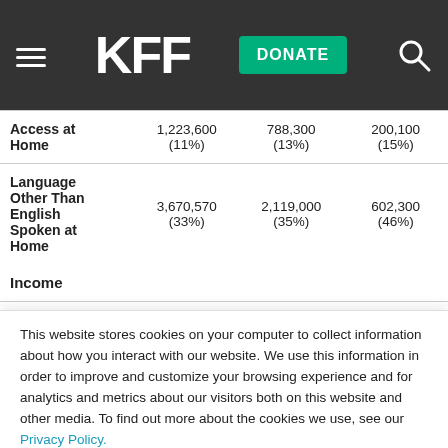KFF
|  | Col1 | Col2 | Col3 |
| --- | --- | --- | --- |
| Access at Home | 1,223,600 (11%) | 788,300 (13%) | 200,100 (15%) |
| Language Other Than English Spoken at Home | 3,670,570 (33%) | 2,119,000 (35%) | 602,300 (46%) |
| Income |  |  |  |
| < 200% FPL** | 4,589,700 (42%) | 4,307,600 (71%) | 1,297,600 (100%) |
This website stores cookies on your computer to collect information about how you interact with our website. We use this information in order to improve and customize your browsing experience and for analytics and metrics about our visitors both on this website and other media. To find out more about the cookies we use, see our Privacy Policy.